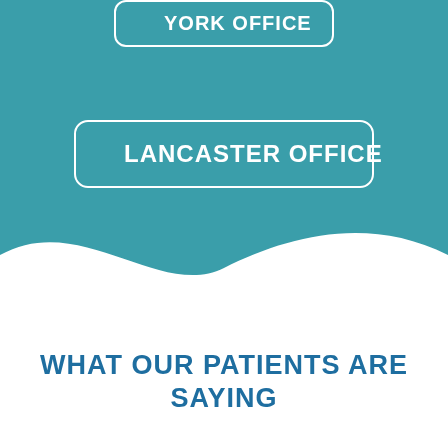[Figure (infographic): Teal/blue-green background with wave transition to white, showing two office button labels: YORK OFFICE and LANCASTER OFFICE in white text inside rounded-rectangle outlines.]
WHAT OUR PATIENTS ARE SAYING